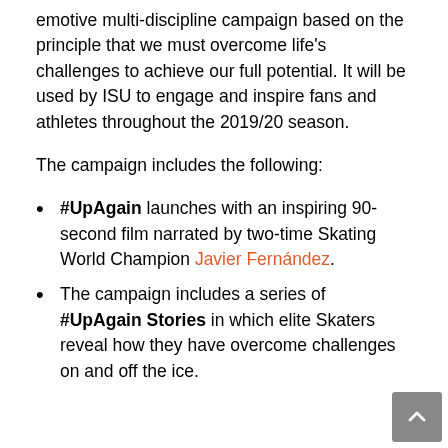emotive multi-discipline campaign based on the principle that we must overcome life's challenges to achieve our full potential. It will be used by ISU to engage and inspire fans and athletes throughout the 2019/20 season.
The campaign includes the following:
#UpAgain launches with an inspiring 90-second film narrated by two-time Skating World Champion Javier Fernández.
The campaign includes a series of #UpAgain Stories in which elite Skaters reveal how they have overcome challenges on and off the ice.